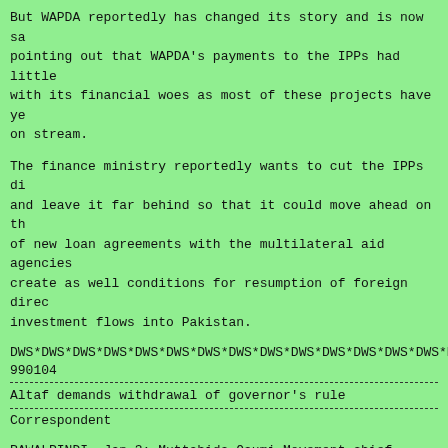But WAPDA reportedly has changed its story and is now sa pointing out that WAPDA's payments to the IPPs had little with its financial woes as most of these projects have ye on stream.
The finance ministry reportedly wants to cut the IPPs di and leave it far behind so that it could move ahead on th of new loan agreements with the multilateral aid agencies create as well conditions for resumption of foreign direc investment flows into Pakistan.
DWS*DWS*DWS*DWS*DWS*DWS*DWS*DWS*DWS*DWS*DWS*DWS*DWS*DWS*D
990104
Altaf demands withdrawal of governor's rule
Correspondent
RAWALPINDI, Jan 3: Muttahida Qaumi Movement chief Altaf H Sunday appealed to President Mohammad Rafiq Tarar and Chi Army Staff Gen Pervez Musharraf on Sunday, to withdraw go rule and military courts from Karachi and find a solution situation there in consultation with the MQM leaders.
Talking to the newsmen in his first telephonic conversati Rawalpindi Press Club in a "meet the press programme," he that the setting up of military courts was an attempt by government to crush the MQM.